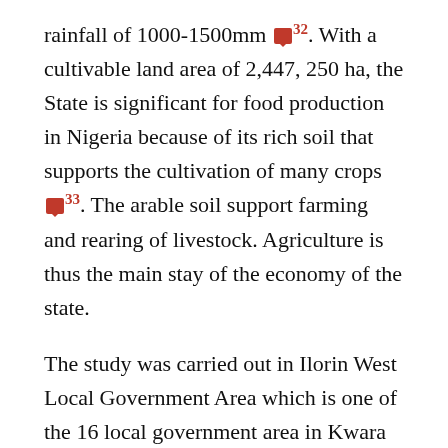rainfall of 1000-1500mm [ref32]. With a cultivable land area of 2,447, 250 ha, the State is significant for food production in Nigeria because of its rich soil that supports the cultivation of many crops [ref33]. The arable soil support farming and rearing of livestock. Agriculture is thus the main stay of the economy of the state.
The study was carried out in Ilorin West Local Government Area which is one of the 16 local government area in Kwara state. Ilorin West Local Government Area (LGA) lies within 4°28 '10″E, 8°34 '28"N and 4°35 '35″E, 8°24 '09"N with its headquarters in the town of Oja Oba. It has a total land area of about 105 square kilometer